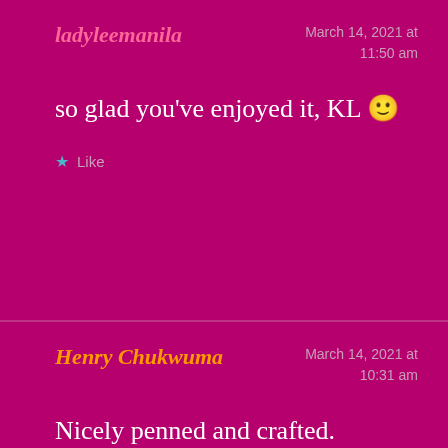ladyleemanila
March 14, 2021 at 11:50 am
so glad you've enjoyed it, KL 🙂
★ Like
Henry Chukwuma
March 14, 2021 at 10:31 am
Nicely penned and crafted.